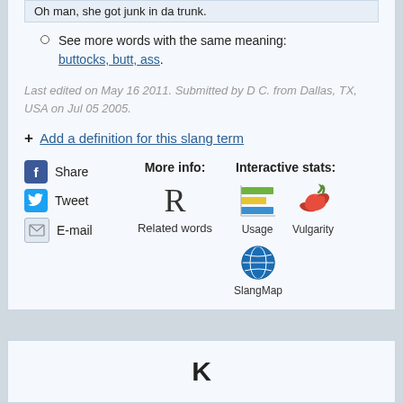Oh man, she got junk in da trunk.
See more words with the same meaning: buttocks, butt, ass.
Last edited on May 16 2011. Submitted by D C. from Dallas, TX, USA on Jul 05 2005.
+ Add a definition for this slang term
Share
Tweet
E-mail
More info:
Related words
Interactive stats:
Usage
Vulgarity
SlangMap
K